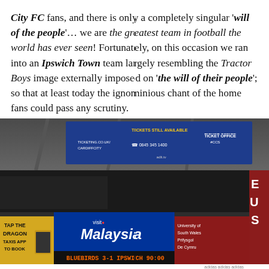City FC fans, and there is only a completely singular 'will of the people'… we are the greatest team in football the world has ever seen! Fortunately, on this occasion we ran into an Ipswich Town team largely resembling the Tractor Boys image externally imposed on 'the will of their people'; so that at least today the ignominious chant of the home fans could pass any scrutiny.
[Figure (photo): Stadium interior photo showing scoreboard signs. A blue scoreboard sign reads 'TICKETS STILL AVAILABLE' with ticketing website and phone number 0845 345 1400. Below are advertising banners: yellow 'TAP THE DRAGON TAXIS APP TO BOOK', blue 'visit Malaysia', red 'University of South Wales Prifysgol De Cymru'. The electronic scoreboard shows 'BLUEBIRDS 3:1 IPSWICH 90:00'.]